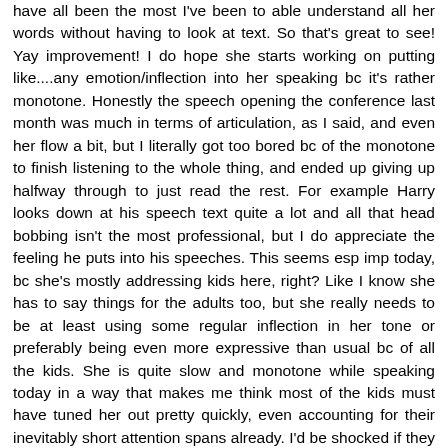have all been the most I've been to able understand all her words without having to look at text. So that's great to see! Yay improvement! I do hope she starts working on putting like....any emotion/inflection into her speaking bc it's rather monotone. Honestly the speech opening the conference last month was much in terms of articulation, as I said, and even her flow a bit, but I literally got too bored bc of the monotone to finish listening to the whole thing, and ended up giving up halfway through to just read the rest. For example Harry looks down at his speech text quite a lot and all that head bobbing isn't the most professional, but I do appreciate the feeling he puts into his speeches. This seems esp imp today, bc she's mostly addressing kids here, right? Like I know she has to say things for the adults too, but she really needs to be at least using some regular inflection in her tone or preferably being even more expressive than usual bc of all the kids. She is quite slow and monotone while speaking today in a way that makes me think most of the kids must have tuned her out pretty quickly, even accounting for their inevitably short attention spans already. I'd be shocked if they were paying attention tow the end when she was talking to them specifically. I know she must still feel nervous, but hock she's addressing...